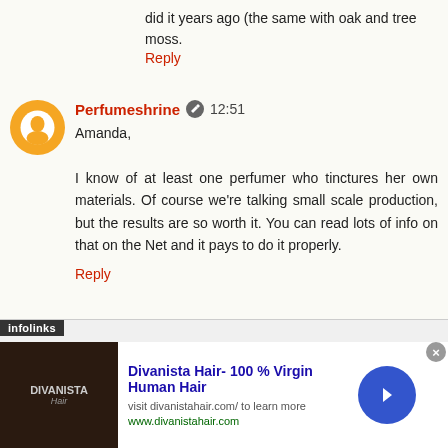did it years ago (the same with oak and tree moss.
Reply
Perfumeshrine  12:51
Amanda,

I know of at least one perfumer who tinctures her own materials. Of course we're talking small scale production, but the results are so worth it. You can read lots of info on that on the Net and it pays to do it properly.
Reply
Perfumeshrine  12:53
[Figure (infographic): Infolinks ad banner showing Divanista Hair - 100% Virgin Human Hair advertisement with product image, title, and navigation arrow]
Divanista Hair- 100 % Virgin Human Hair
visit divanistahair.com/ to learn more
www.divanistahair.com